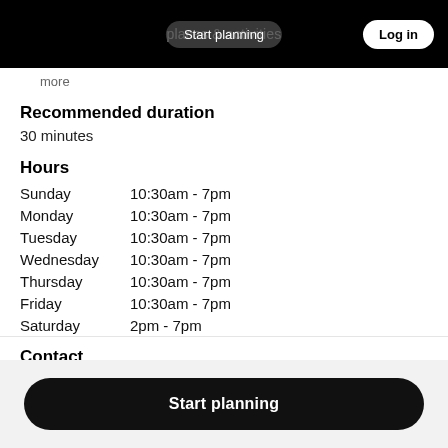Start planning — places & activities — Log in
more
Recommended duration
30 minutes
Hours
| Day | Hours |
| --- | --- |
| Sunday | 10:30am - 7pm |
| Monday | 10:30am - 7pm |
| Tuesday | 10:30am - 7pm |
| Wednesday | 10:30am - 7pm |
| Thursday | 10:30am - 7pm |
| Friday | 10:30am - 7pm |
| Saturday | 2pm - 7pm |
Contact
Start planning